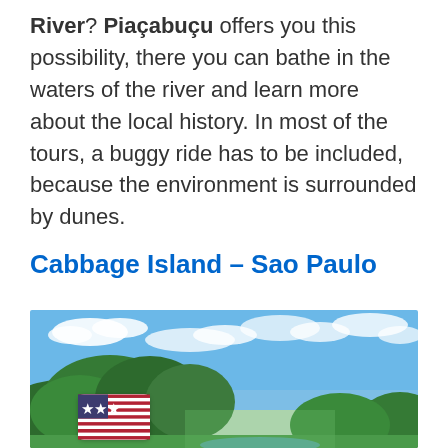River? Piaçabuçu offers you this possibility, there you can bathe in the waters of the river and learn more about the local history. In most of the tours, a buggy ride has to be included, because the environment is surrounded by dunes.
Cabbage Island – Sao Paulo
[Figure (photo): Aerial or scenic photo of a green tropical island with lush vegetation under a bright blue sky with white clouds, with a small US flag badge overlay in the bottom-left area.]